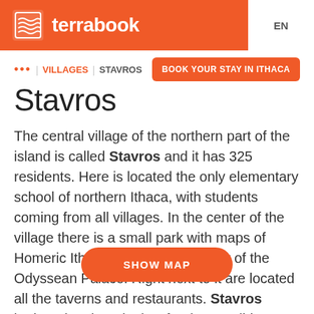terrabook  EN
... | VILLAGES | STAVROS
BOOK YOUR STAY IN ITHACA
Stavros
The central village of the northern part of the island is called Stavros and it has 325 residents. Here is located the only elementary school of northern Ithaca, with students coming from all villages. In the center of the village there is a small park with maps of Homeric Ithaca as well as an effigy of the Odyssean Palace. Right next to it are located all the taverns and restaurants. Stavros intrigued archaeologists for the possible delimitation of the Homeric city and the Odyssean Palace. ...s did discover, was a unique in the Ionian Islands early
SHOW MAP